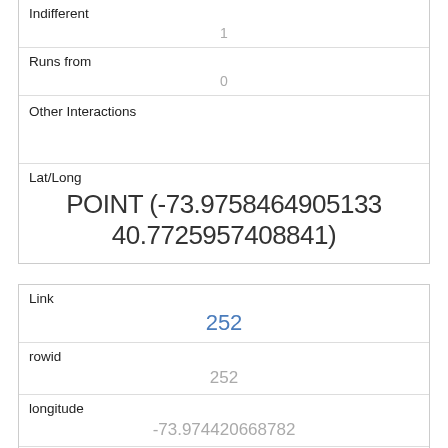| Indifferent | 1 |
| Runs from | 0 |
| Other Interactions |  |
| Lat/Long | POINT (-73.9758464905133 40.7725957408841) |
| Link | 252 |
| rowid | 252 |
| longitude | -73.974420668782 |
| latitude | 40.7749628597465 |
| Unique Squirrel ID | 10C-PM-1013-04 |
| Hectare |  |